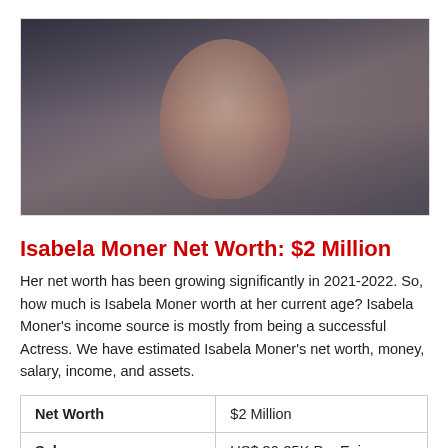[Figure (photo): Portrait photo of Isabela Moner, a young woman with dark hair styled up, wearing a choker necklace, photographed against a dark smoky background.]
Isabela Moner Net Worth: $2 Million
Her net worth has been growing significantly in 2021-2022. So, how much is Isabela Moner worth at her current age? Isabela Moner's income source is mostly from being a successful Actress. We have estimated Isabela Moner's net worth, money, salary, income, and assets.
| Net Worth | $2 Million |
| Salary | US$ 30-35K Per Episode |